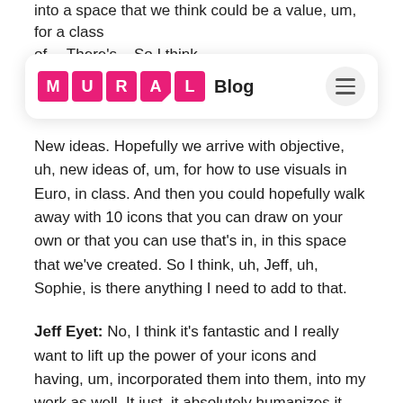into a space that we think could be a value, um, for a class of... There's... So I think there are with visual collaboration at the end.
[Figure (logo): MURAL Blog navigation bar with pink MURAL logo letters and hamburger menu icon]
New ideas. Hopefully we arrive with objective, uh, new ideas of, um, for how to use visuals in Euro, in class. And then you could hopefully walk away with 10 icons that you can draw on your own or that you can use that's in, in this space that we've created. So I think, uh, Jeff, uh, Sophie, is there anything I need to add to that.
Jeff Eyet: No, I think it's fantastic and I really want to lift up the power of your icons and having, um, incorporated them into them, into my work as well. It just, it absolutely humanizes it. Um, it, it gives students a, a bridge from where they sit into the [00:04:00] work and, um, we're very grateful that you'd be sharing that with us today.